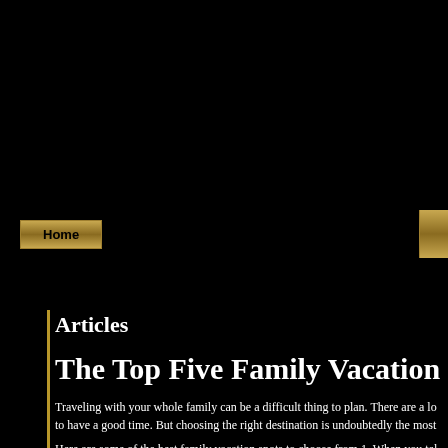Home
Articles
The Top Five Family Vacation S
Traveling with your whole family can be a difficult thing to plan. There are a lo to have a good time. But choosing the right destination is undoubtedly the most
Here are some of the best family vacation spots to choose from.1. When you tal Disney World in central Florida. If your family hasn't been there yet, then you r entertainment value for a family that it's hard to almost know where to start. Th Kingdom, Epcot Center, MGM studios, and Animal Kingdom.
Besides that, there are also two large water parks, Blizzard Beach and Typhoon